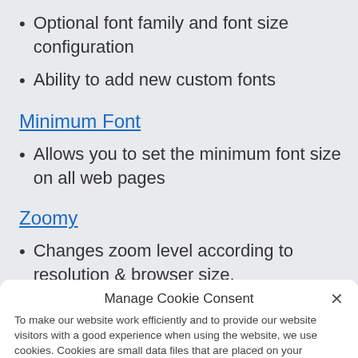Optional font family and font size configuration
Ability to add new custom fonts
Minimum Font
Allows you to set the minimum font size on all web pages
Zoomy
Changes zoom level according to resolution & browser size.
Manage Cookie Consent
To make our website work efficiently and to provide our website visitors with a good experience when using the website, we use cookies. Cookies are small data files that are placed on your computer